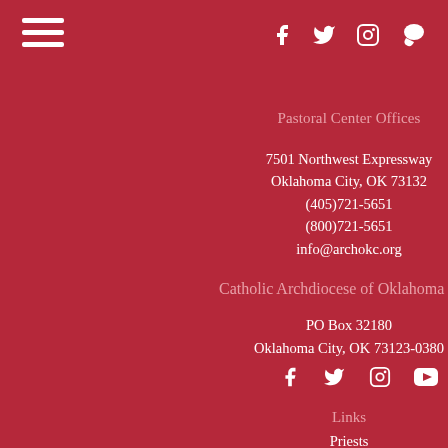[Figure (other): Hamburger menu icon (three horizontal white lines) in top left corner]
[Figure (other): Social media icons row (Facebook, Twitter, Instagram, Parler) at top right]
Pastoral Center Offices
7501 Northwest Expressway
Oklahoma City, OK 73132
(405)721-5651
(800)721-5651
info@archokc.org
Catholic Archdiocese of Oklahoma C
PO Box 32180
Oklahoma City, OK 73123-0380
[Figure (other): Social media icons row (Facebook, Twitter, Instagram, YouTube) in middle section]
Links
Priests
Online Giving
Rother Institute
Catholic R...